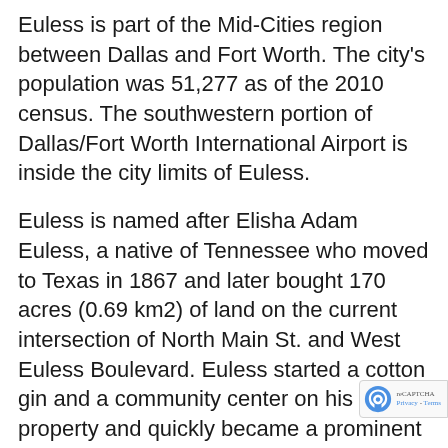Euless is part of the Mid-Cities region between Dallas and Fort Worth. The city's population was 51,277 as of the 2010 census. The southwestern portion of Dallas/Fort Worth International Airport is inside the city limits of Euless.
Euless is named after Elisha Adam Euless, a native of Tennessee who moved to Texas in 1867 and later bought 170 acres (0.69 km2) of land on the current intersection of North Main St. and West Euless Boulevard. Euless started a cotton gin and a community center on his property and quickly became a prominent figure among other settlers. He was eventually elected county sheriff, both in 1892 and in 1894, after which Euless retired for health reasons. The community developed around the land Euless owned, and the locals decided to name the city